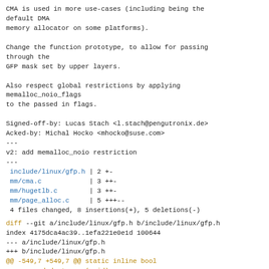CMA is used in more use-cases (including being the
default DMA
memory allocator on some platforms).

Change the function prototype, to allow for passing
through the
GFP mask set by upper layers.

Also respect global restrictions by applying
memalloc_noio_flags
to the passed in flags.

Signed-off-by: Lucas Stach <l.stach@pengutronix.de>
Acked-by: Michal Hocko <mhocko@suse.com>
---
v2: add memalloc_noio restriction
---
include/linux/gfp.h | 2 +-
 mm/cma.c            | 3 ++-
 mm/hugetlb.c        | 3 ++-
 mm/page_alloc.c     | 5 +++--
 4 files changed, 8 insertions(+), 5 deletions(-)
diff --git a/include/linux/gfp.h b/include/linux/gfp.h
index 4175dca4ac39..1efa221e0e1d 100644
--- a/include/linux/gfp.h
+++ b/include/linux/gfp.h
@@ -549,7 +549,7 @@ static inline bool
pm_suspended_storage(void)
#if (defined(CONFIG_MEMORY_ISOLATION) &&